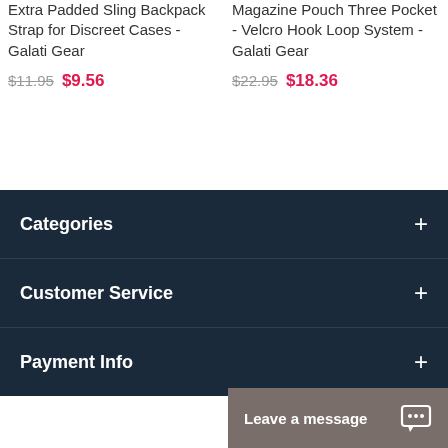Extra Padded Sling Backpack Strap for Discreet Cases - Galati Gear
$11.95  $9.56
Magazine Pouch Three Pocket - Velcro Hook Loop System - Galati Gear
$22.95  $18.36
Categories
Customer Service
Payment Info
Leave a message